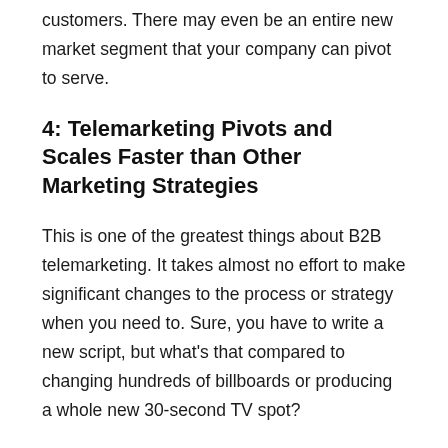customers. There may even be an entire new market segment that your company can pivot to serve.
4: Telemarketing Pivots and Scales Faster than Other Marketing Strategies
This is one of the greatest things about B2B telemarketing. It takes almost no effort to make significant changes to the process or strategy when you need to. Sure, you have to write a new script, but what's that compared to changing hundreds of billboards or producing a whole new 30-second TV spot?
With a few quick edits, a telemarketing team can